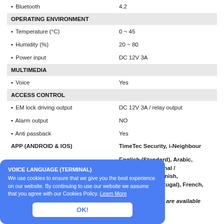| Feature | Value |
| --- | --- |
| • Bluetooth | 4.2 |
| OPERATING ENVIRONMENT |  |
| • Temperature (°C) | 0 ~ 45 |
| • Humidity (%) | 20 ~ 80 |
| • Power input | DC 12V 3A |
| MULTIMEDIA |  |
| • Voice | Yes |
| ACCESS CONTROL |  |
| • EM lock driving output | DC 12V 3A / relay output |
| • Alarm output | NO |
| • Anti passback | Yes |
| APP (ANDROID & IOS) | TimeTec Security, i-Neighbour |
| VOICE LANGUAGE (TERMINAL) | English (Standard), Arabic, Chinese Traditional / Vietnamese, Spanish, Portuguese (Portugal), French, Persian. Other languages are available upon request |
We use cookies to ensure that we give you the best experience on our website. By continuing to use our website we assume that you agree with our Cookies Policy. Learn More
OK!